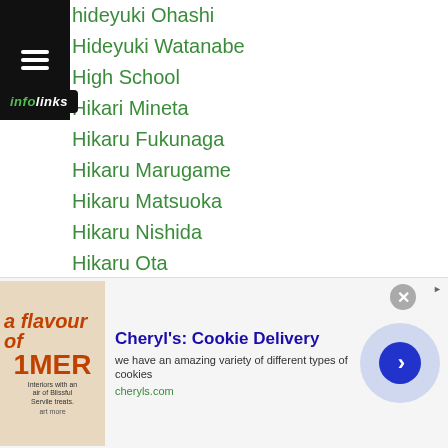hideyuki Ohashi
Hideyuki Watanabe
High School
Hikari Mineta
Hikaru Fukunaga
Hikaru Marugame
Hikaru Matsuoka
Hikaru Nishida
Hikaru Ota
Hinami Yanai
Hinata Maruta
Hiroaki Nakade
Hiroaki Teshigawara
Hiroaki-tsuda
Hirofumi Mukai
Hiroki Hanabusa
Hiroki ...ous
[Figure (screenshot): Infolinks advertisement bar at bottom of page showing Cheryl's Cookie Delivery ad]